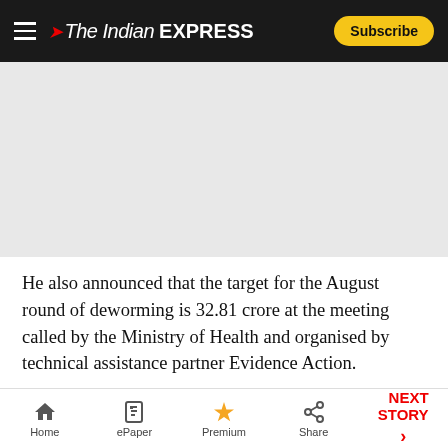The Indian Express — Subscribe
[Figure (other): Advertisement / grey placeholder area]
He also announced that the target for the August round of deworming is 32.81 crore at the meeting called by the Ministry of Health and organised by technical assistance partner Evidence Action.
State nodal officers for National Deworming Day (NDD), as well as representatives from WHO India
Home | ePaper | Premium | Share | NEXT STORY